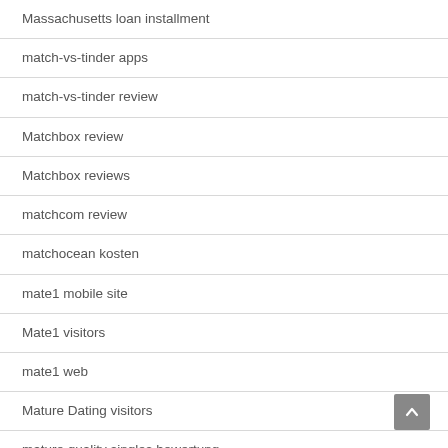Massachusetts loan installment
match-vs-tinder apps
match-vs-tinder review
Matchbox review
Matchbox reviews
matchcom review
matchocean kosten
mate1 mobile site
Mate1 visitors
mate1 web
Mature Dating visitors
mature quality singles bewertung
mature-dating review